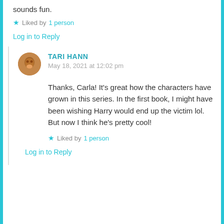sounds fun.
★ Liked by 1 person
Log in to Reply
TARI HANN
May 18, 2021 at 12:02 pm
Thanks, Carla! It's great how the characters have grown in this series. In the first book, I might have been wishing Harry would end up the victim lol. But now I think he's pretty cool!
★ Liked by 1 person
Log in to Reply